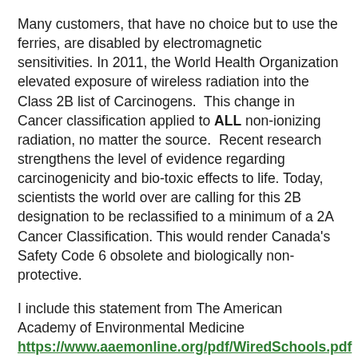Many customers, that have no choice but to use the ferries, are disabled by electromagnetic sensitivities. In 2011, the World Health Organization elevated exposure of wireless radiation into the Class 2B list of Carcinogens.  This change in Cancer classification applied to ALL non-ionizing radiation, no matter the source.  Recent research strengthens the level of evidence regarding carcinogenicity and bio-toxic effects to life. Today, scientists the world over are calling for this 2B designation to be reclassified to a minimum of a 2A Cancer Classification. This would render Canada's Safety Code 6 obsolete and biologically non-protective.
I include this statement from The American Academy of Environmental Medicine https://www.aaemonline.org/pdf/WiredSchools.pdf  for your perusal.
"The AAEM strongly supports the use of wired Internet connections